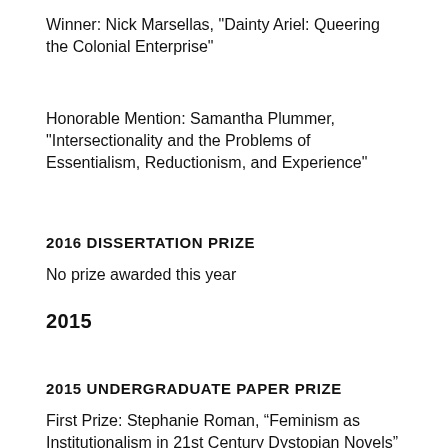Winner: Nick Marsellas, "Dainty Ariel: Queering the Colonial Enterprise"
Honorable Mention: Samantha Plummer, "Intersectionality and the Problems of Essentialism, Reductionism, and Experience"
2016 DISSERTATION PRIZE
No prize awarded this year
2015
2015 UNDERGRADUATE PAPER PRIZE
First Prize: Stephanie Roman, “Feminism as Institutionalism in 21st Century Dystopian Novels”